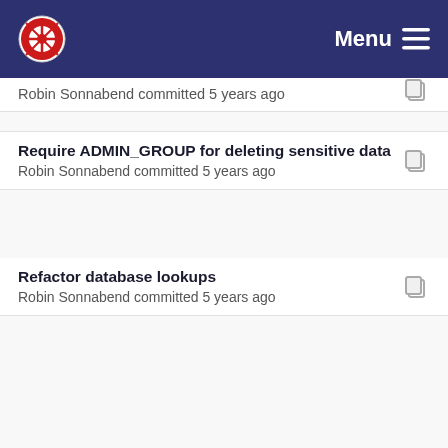Menu
Robin Sonnabend committed 5 years ago
Require ADMIN_GROUP for deleting sensitive data
Robin Sonnabend committed 5 years ago
Refactor database lookups
Robin Sonnabend committed 5 years ago
Refactored authentication
Robin Sonnabend committed 5 years ago
Refactor database lookups
Robin Sonnabend committed 5 years ago
Internal protocol
Robin Sonnabend committed 5 years ago
Added editing protocols
Robin Sonnabend committed 5 years ago
Internal protocol
Robin Sonnabend committed 5 years ago